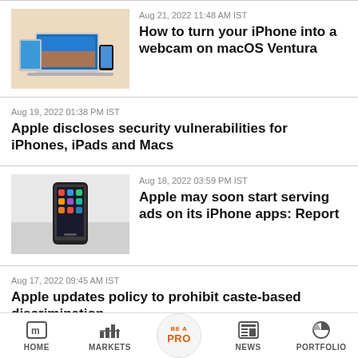[Figure (photo): Apple devices - iPhone, iPad, MacBook with macOS Ventura interface]
Aug 21, 2022 11:48 AM IST
How to turn your iPhone into a webcam on macOS Ventura
Aug 19, 2022 01:38 PM IST
Apple discloses security vulnerabilities for iPhones, iPads and Macs
[Figure (photo): iPhone held against a light background]
Aug 18, 2022 03:59 PM IST
Apple may soon start serving ads on its iPhone apps: Report
Aug 17, 2022 09:45 AM IST
Apple updates policy to prohibit caste-based discrimination
HOME  MARKETS  BE A PRO  NEWS  PORTFOLIO